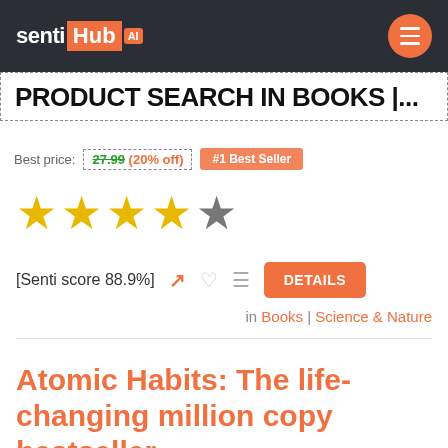sentiHub AI — navigation header with menu button
PRODUCT SEARCH IN BOOKS |...
Best price: 27.99 (20% off) | #1 Best Seller
[Figure (other): 4 out of 5 stars rating display: 4 gold stars and 1 grey star]
[Senti score 88.9%] with chart icon, heart icon, list icon, and DETAILS button
in Books | Science & Nature
Atomic Habits: The life-changing million copy bestseller